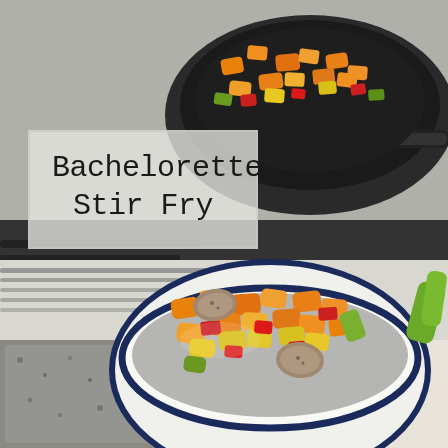[Figure (photo): A food photo showing a black skillet pan on a stove filled with colorful stir-fry vegetables (orange, yellow, red peppers and squash), and in the foreground a white bowl with navy blue rim containing a serving of the same stir-fry with visible sausage slices, placed on a granite countertop.]
Bachelorette Stir Fry